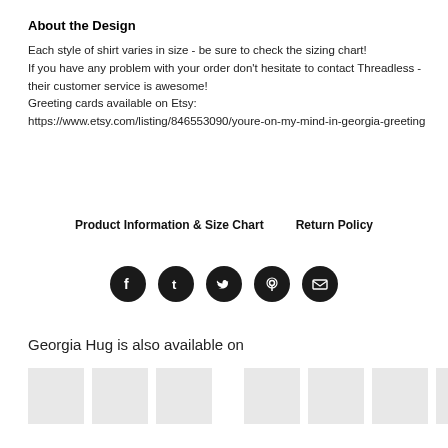About the Design
Each style of shirt varies in size - be sure to check the sizing chart!
If you have any problem with your order don't hesitate to contact Threadless - their customer service is awesome!
Greeting cards available on Etsy:
https://www.etsy.com/listing/846553090/youre-on-my-mind-in-georgia-greeting
Product Information & Size Chart      Return Policy
[Figure (infographic): Five social media icon buttons (Facebook, Tumblr, Twitter, Pinterest, Email) as dark circular buttons in a row]
Georgia Hug is also available on
[Figure (infographic): A row of product thumbnail images (grey placeholder boxes) showing available products]